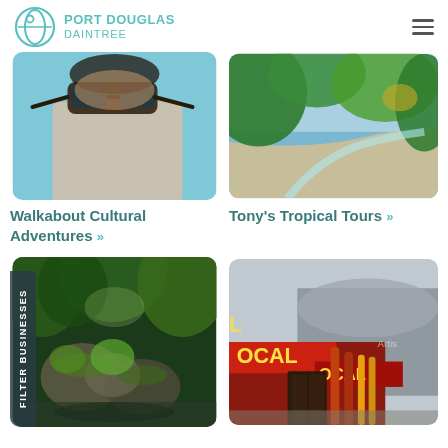PORT DOUGLAS DAINTREE
[Figure (photo): Close-up of a person wearing sunglasses and a grey shirt, outdoors with blue sky]
[Figure (photo): Aerial view of a tropical coastline with green vegetation, sand, and turquoise water]
Walkabout Cultural Adventures »
Tony's Tropical Tours »
[Figure (photo): Lush rainforest scene with large mossy boulders, ferns, and a dark creek]
[Figure (photo): Exterior of a local arts building with red and bamboo decorative elements and signage reading LOCAL]